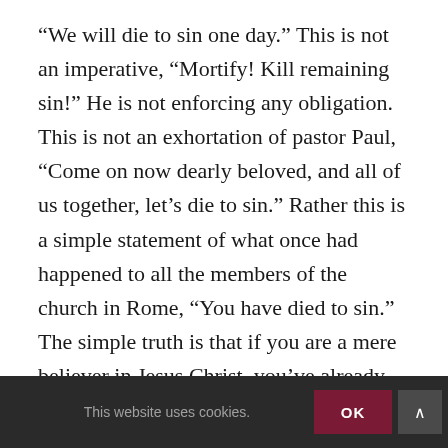“We will die to sin one day.” This is not an imperative, “Mortify! Kill remaining sin!” He is not enforcing any obligation. This is not an exhortation of pastor Paul, “Come on now dearly beloved, and all of us together, let’s die to sin.” Rather this is a simple statement of what once had happened to all the members of the church in Rome, “You have died to sin.” The simple truth is that if you are a mere believer in Jesus Christ, you’ve already died to sin. It’s a past event, an accomplished fact. What is a Christian? A Christian is a believer in Jesus and like all believers any time and everywhere he has died
This website uses cookies.  OK